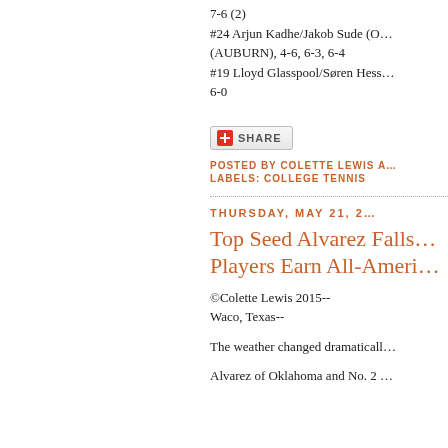7-6 (2)
#24 Arjun Kadhe/Jakob Sude (O… (AUBURN), 4-6, 6-3, 6-4
#19 Lloyd Glasspool/Søren Hess… 6-0
[Figure (other): Share button widget with red plus icon and SHARE text]
POSTED BY COLETTE LEWIS A…
LABELS: COLLEGE TENNIS
THURSDAY, MAY 21, 2…
Top Seed Alvarez Falls… Players Earn All-Ameri…
©Colette Lewis 2015--
Waco, Texas--
The weather changed dramaticall… Alvarez of Oklahoma and No. 2 …